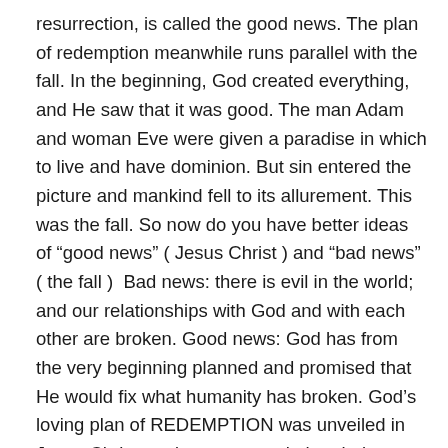resurrection, is called the good news. The plan of redemption meanwhile runs parallel with the fall. In the beginning, God created everything, and He saw that it was good. The man Adam and woman Eve were given a paradise in which to live and have dominion. But sin entered the picture and mankind fell to its allurement. This was the fall. So now do you have better ideas of “good news” ( Jesus Christ ) and “bad news” ( the fall )? Bad news: there is evil in the world; and our relationships with God and with each other are broken. Good news: God has from the very beginning planned and promised that He would fix what humanity has broken. God’s loving plan of REDEMPTION was unveiled in Jesus Christ, and now we await the glorious return of our Savior Jesus Christ, when all will be made new and perfect. This is the RESTORATION, the final act of God’s plan for us!